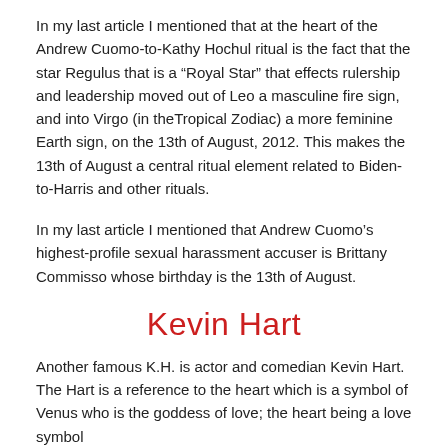In my last article I mentioned that at the heart of the Andrew Cuomo-to-Kathy Hochul ritual is the fact that the star Regulus that is a “Royal Star” that effects rulership and leadership moved out of Leo a masculine fire sign, and into Virgo (in theTropical Zodiac) a more feminine Earth sign, on the 13th of August, 2012. This makes the 13th of August a central ritual element related to Biden-to-Harris and other rituals.
In my last article I mentioned that Andrew Cuomo’s highest-profile sexual harassment accuser is Brittany Commisso whose birthday is the 13th of August.
Kevin Hart
Another famous K.H. is actor and comedian Kevin Hart. The Hart is a reference to the heart which is a symbol of Venus who is the goddess of love; the heart being a love symbol